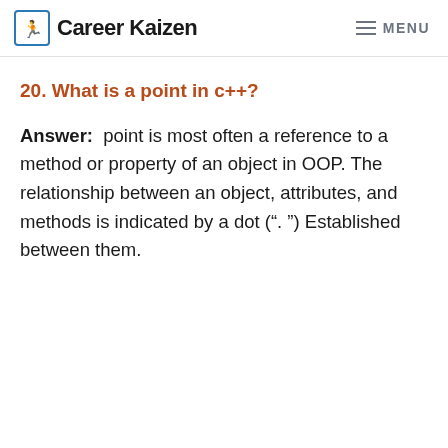Career Kaizen   MENU
20. What is a point in c++?
Answer:  point is most often a reference to a method or property of an object in OOP. The relationship between an object, attributes, and methods is indicated by a dot (“. ”) Established between them.